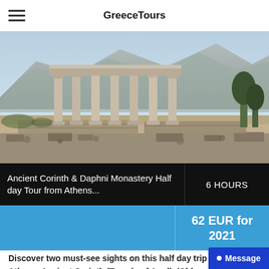GreeceTours
[Figure (photo): Ancient Greek temple ruins with tall stone columns standing against a rocky hillside and mountain backdrop, with scattered stone ruins in the foreground]
Ancient Corinth & Daphni Monastery Half day Tour from Athens...
6 HOURS
62 EUR for 2021
Discover two must-see sights on this half day trip from Athens, Ancient Corinth (Temple of Apollo/Old aged-streets), Daphni's Monastery.